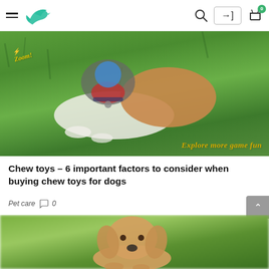Navigation bar with hamburger menu, bird logo, search icon, login button, cart icon with badge 0
[Figure (photo): Dog lying on green grass with a blue ball toy in mouth, with decorative 'Zoom' text and 'Explore more game fun' text overlay]
Chew toys – 6 important factors to consider when buying chew toys for dogs
Pet care  0
[Figure (photo): Golden retriever puppy sitting on green blurred background, looking at camera]